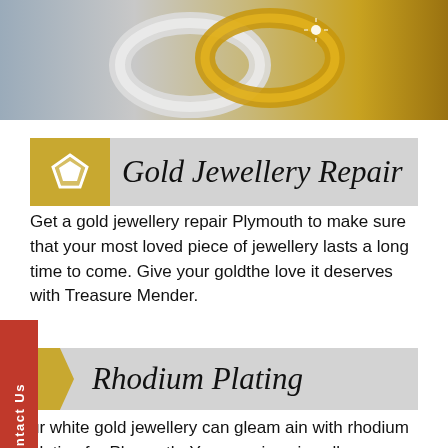[Figure (photo): Photo of silver and gold infinity rings intertwined, jewelry photography on warm background]
Gold Jewellery Repair
Get a gold jewellery repair Plymouth to make sure that your most loved piece of jewellery lasts a long time to come. Give your goldthe love it deserves with Treasure Mender.
Rhodium Plating
ur white gold jewellery can gleam ain with rhodium plating for Plymouth. Your precious jewellery can be carefully repaired by the